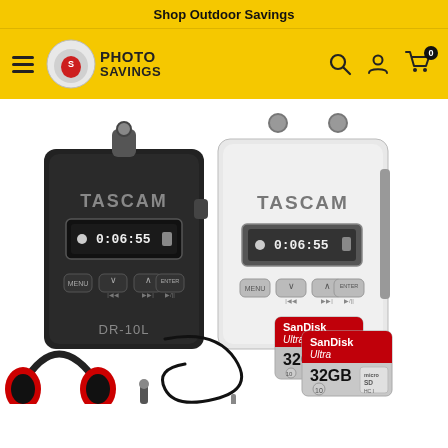Shop Outdoor Savings
[Figure (logo): Photo Savings logo with circular emblem and hamburger menu on yellow background, with search, account, and cart icons on the right]
[Figure (photo): Product image showing two TASCAM DR-10L portable audio recorders (one black, one white), headphones with red accents, a lavalier microphone and cable, two SanDisk Ultra 32GB microSD cards, and additional accessories on white background]